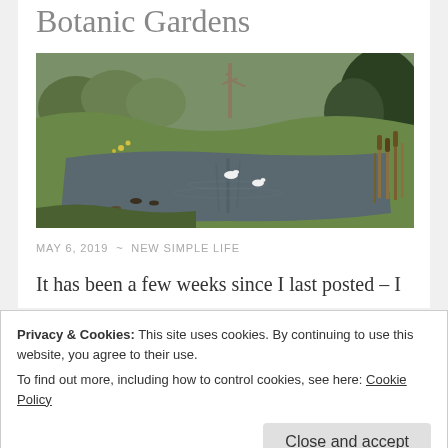Botanic Gardens
[Figure (photo): A pond in a botanic garden with swans and ducks on the water, surrounded by trees and green vegetation, with reeds on the right side.]
MAY 6, 2019 ~ NEW SIMPLE LIFE
It has been a few weeks since I last posted – I
Privacy & Cookies: This site uses cookies. By continuing to use this website, you agree to their use.
To find out more, including how to control cookies, see here: Cookie Policy
Close and accept